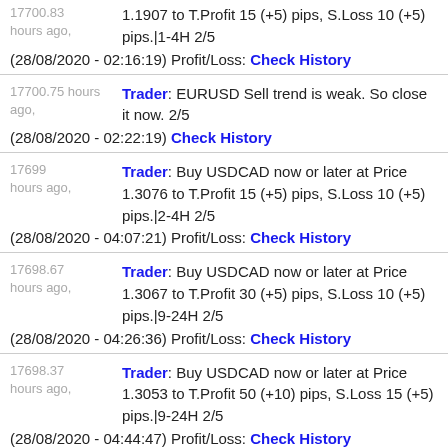17700.83 hours ago. Trader: Buy EURUSD now or later at Price 1.1907 to T.Profit 15 (+5) pips, S.Loss 10 (+5) pips.|1-4H 2/5 (28/08/2020 - 02:16:19) Profit/Loss: Check History
17700.75 hours ago. Trader: EURUSD Sell trend is weak. So close it now. 2/5 (28/08/2020 - 02:22:19) Check History
17699 hours ago. Trader: Buy USDCAD now or later at Price 1.3076 to T.Profit 15 (+5) pips, S.Loss 10 (+5) pips.|2-4H 2/5 (28/08/2020 - 04:07:21) Profit/Loss: Check History
17698.67 hours ago. Trader: Buy USDCAD now or later at Price 1.3067 to T.Profit 30 (+5) pips, S.Loss 10 (+5) pips.|9-24H 2/5 (28/08/2020 - 04:26:36) Profit/Loss: Check History
17698.37 hours ago. Trader: Buy USDCAD now or later at Price 1.3053 to T.Profit 50 (+10) pips, S.Loss 15 (+5) pips.|9-24H 2/5 (28/08/2020 - 04:44:47) Profit/Loss: Check History
Trader: Sell AUDUSD now or later at Price...